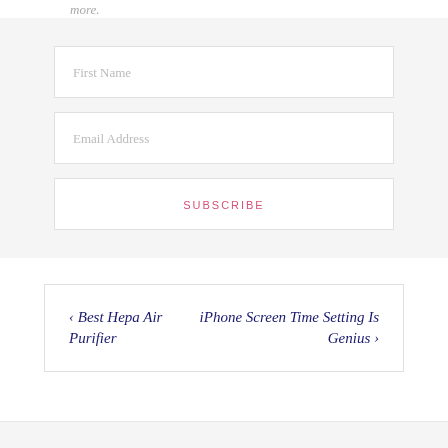more.
[Figure (screenshot): Subscription form with First Name input field, Email Address input field, and a SUBSCRIBE button, all on a light gray background]
‹ Best Hepa Air Purifier
iPhone Screen Time Setting Is Genius ›